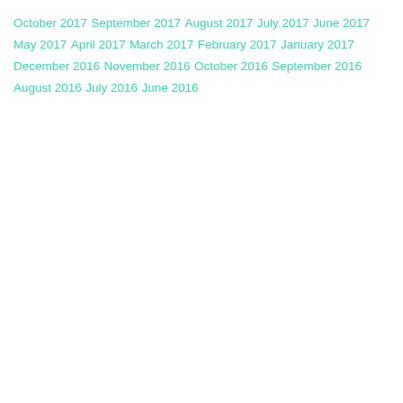October 2017
September 2017
August 2017
July 2017
June 2017
May 2017
April 2017
March 2017
February 2017
January 2017
December 2016
November 2016
October 2016
September 2016
August 2016
July 2016
June 2016